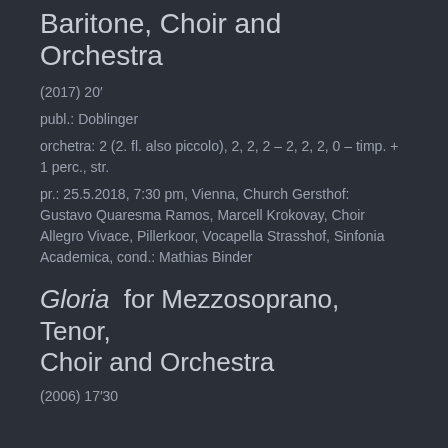Baritone, Choir and Orchestra
(2017) 20′
publ.: Doblinger
orchetra: 2 (2. fl. also piccolo), 2, 2, 2 – 2, 2, 2, 0 – timp. + 1 perc., str.
pr.: 25.5.2018, 7:30 pm, Vienna, Church Gersthof: Gustavo Quaresma Ramos, Marcell Krokovay, Choir Allegro Vivace, Pillerkoor, Vocapella Strasshof, Sinfonia Academica, cond.: Mathias Binder
Gloria for Mezzosoprano, Tenor, Choir and Orchestra
(2006) 17′30